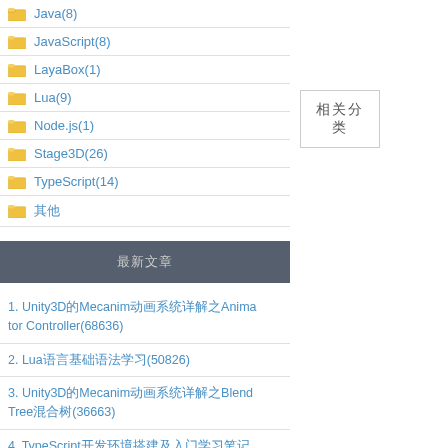Java(8)
JavaScript(8)
LayaBox(1)
Lua(9)
Node.js(1)
Stage3D(26)
TypeScript(14)
其他
最新文章
1. Unity3D的Mecanim动画系统详解之Animator Controller(68636)
2. Lua语言基础语法学习(50826)
3. Unity3D的Mecanim动画系统详解之Blend Tree混合树(36663)
4. TypeScript开发环境搭建及入门学习笔记(36031)
5. Unity3D的Mecanim动画系统详解之Animator Layers动画层(30354)
相关分类